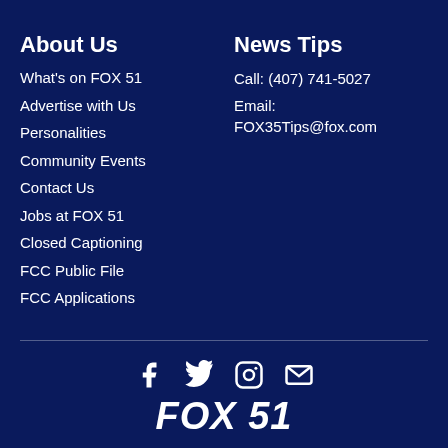About Us
What's on FOX 51
Advertise with Us
Personalities
Community Events
Contact Us
Jobs at FOX 51
Closed Captioning
FCC Public File
FCC Applications
News Tips
Call: (407) 741-5027
Email: FOX35Tips@fox.com
[Figure (other): Social media icons: Facebook, Twitter, Instagram, Email]
[Figure (logo): FOX 51 logo in white bold italic text]